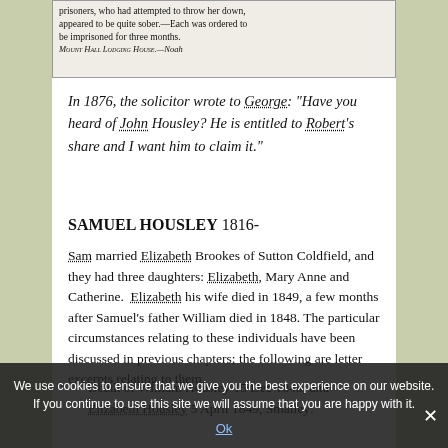[Figure (photo): Newspaper clipping showing text about prisoners who appeared to be quite sober, ordered to be imprisoned for three months. Partial headline visible: LODGING HOUSE — Noah]
In 1876, the solicitor wrote to George: "Have you heard of John Housley? He is entitled to Robert's share and I want him to claim it."
SAMUEL HOUSLEY 1816-
Sam married Elizabeth Brookes of Sutton Coldfield, and they had three daughters: Elizabeth, Mary Anne and Catherine. Elizabeth his wife died in 1849, a few months after Samuel's father William died in 1848. The particular circumstances relating to these individuals have been discussed in previous chapters; the following are letter excerpts relating to them.
Death of William Housley 15 Dec 1848; and Elizabeth Housley 5 April 1849, Smalley: